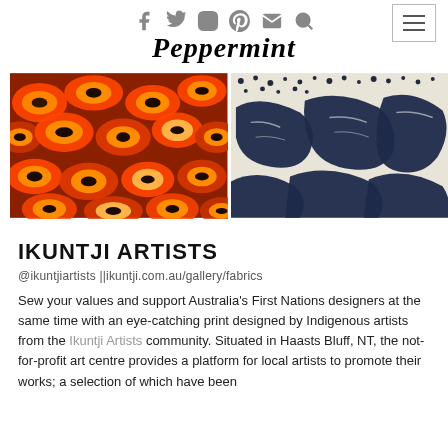Social icons: Facebook, Twitter, Instagram, Pinterest, Mail, Search
Peppermint
[Figure (photo): Two fabric close-up photos side by side. Left: red, orange, and black concentric oval/eye pattern fabric. Right: white fabric with large irregular navy blue shapes.]
IKUNTJI ARTISTS
@ikuntjiartists ||ikuntji.com.au/gallery/fabrics
Sew your values and support Australia's First Nations designers at the same time with an eye-catching print designed by Indigenous artists from the Ikuntji Artists community. Situated in Haasts Bluff, NT, the not-for-profit art centre provides a platform for local artists to promote their works; a selection of which have been